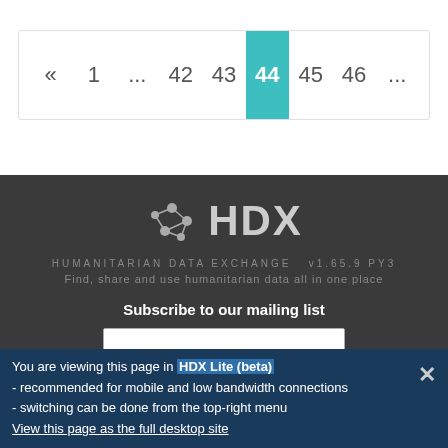[Figure (other): Pagination bar showing pages: « 1 ... 42 43 [44] 45 46 ...]
[Figure (logo): HDX (Humanitarian Data Exchange) logo with network icon, subtitle HUMANITARIAN DATA EXCHANGE v1.65.9 PY3, tagline: Find, share and use humanitarian data all in one place]
Subscribe to our mailing list
SUBSCRIBE
OUR OTHER SERVICES
You are viewing this page in HDX Lite (beta) - recommended for mobile and low bandwidth connections - switching can be done from the top-right menu View this page as the full desktop site